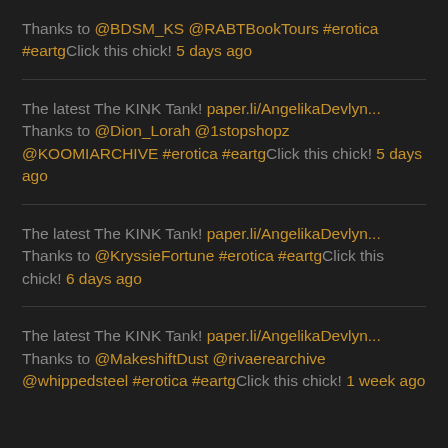Thanks to @BDSM_KS @RABTBookTours #erotica #eartgClick this chick! 5 days ago
The latest The KINK Tank! paper.li/AngelikaDevlyn... Thanks to @Dion_Lorah @1stopshopz @KOOMIARCHIVE #erotica #eartgClick this chick! 5 days ago
The latest The KINK Tank! paper.li/AngelikaDevlyn... Thanks to @KryssieFortune #erotica #eartgClick this chick! 6 days ago
The latest The KINK Tank! paper.li/AngelikaDevlyn... Thanks to @MakeshiftDust @rivaerearchive @whippedsteel #erotica #eartgClick this chick! 1 week ago